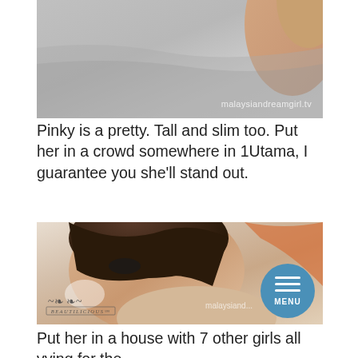[Figure (photo): Top portion of a person wearing a grey sleeveless top, with watermark 'malaysiandreamgirl.tv']
Pinky is a pretty. Tall and slim too. Put her in a crowd somewhere in 1Utama, I guarantee you she'll stand out.
[Figure (photo): Close-up professional beauty shot of a young woman with dark short hair, dramatic makeup, looking over her shoulder. Beautilicious logo bottom-left, malaysiand... watermark bottom-right, blue circular MENU button bottom-right.]
Put her in a house with 7 other girls all vying for the title of Malaysian Dreamgirl? Suddenly she's...